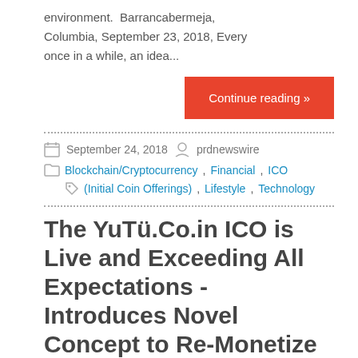environment. Barrancabermeja, Columbia, September 23, 2018, Every once in a while, an idea…
Continue reading »
September 24, 2018   prdnewswire
Blockchain/Cryptocurrency, Financial, ICO (Initial Coin Offerings), Lifestyle, Technology
The YuTü.Co.in ICO is Live and Exceeding All Expectations - Introduces Novel Concept to Re-Monetize and Empower YouTube Content Creators Through Crypto-Commoditization
YuTü.Co.in is a novel platform dedicated to bringing monetization back to